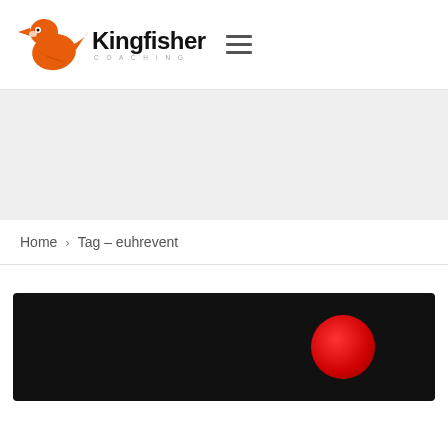[Figure (logo): Kingfisher Coaching logo with orange bird silhouette and text]
[Figure (illustration): Gray banner placeholder area]
Home > Tag – euhrevent
[Figure (photo): Black background image with a red circle/dot on the right side]